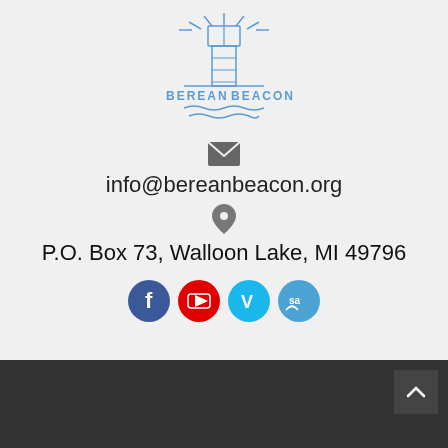[Figure (logo): Berean Beacon lighthouse logo with text BEREAN BEACON in blue outline style]
[Figure (illustration): Dark gray email envelope icon]
info@bereanbeacon.org
[Figure (illustration): Dark gray map location pin icon]
P.O. Box 73, Walloon Lake, MI 49796
[Figure (illustration): Social media icons: Facebook (blue circle with f), YouTube (red circle with play button), Vimeo (blue circle with V), SermonAudio (blue circle with sa and wifi waves)]
[Figure (illustration): Back to top button arrow on dark background, bottom right corner]